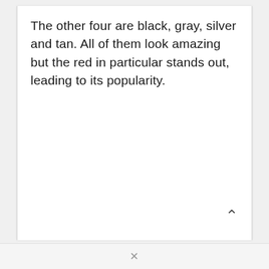The other four are black, gray, silver and tan. All of them look amazing but the red in particular stands out, leading to its popularity.